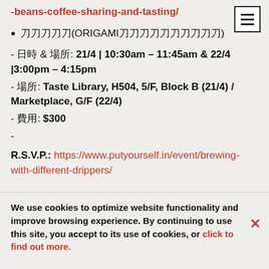-beans-coffee-sharing-and-tasting/
折り紙(ORIGAMI折り紙折り紙折り紙折り)
- 日時 & 場所: 21/4 | 10:30am – 11:45am & 22/4 |3:00pm – 4:15pm
- 場所: Taste Library, H504, 5/F, Block B (21/4) / Marketplace, G/F (22/4)
- 費用: $300
-
R.S.V.P.: https://www.putyourself.in/event/brewing-with-different-drippers/
We use cookies to optimize website functionality and improve browsing experience. By continuing to use this site, you accept to its use of cookies, or click to find out more.